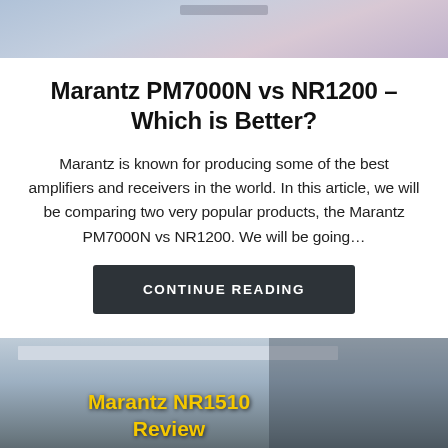[Figure (photo): Top partial image of a room with blue-tinted windows, light pink/purple wall tones — cut off at top of page]
Marantz PM7000N vs NR1200 – Which is Better?
Marantz is known for producing some of the best amplifiers and receivers in the world. In this article, we will be comparing two very popular products, the Marantz PM7000N vs NR1200. We will be going...
CONTINUE READING
[Figure (photo): Partial image of a home theater room with a Marantz NR1510 receiver and speakers, dark background. Yellow text overlay reads 'Marantz NR1510 Review'. A reCAPTCHA badge is visible in the bottom-right corner.]